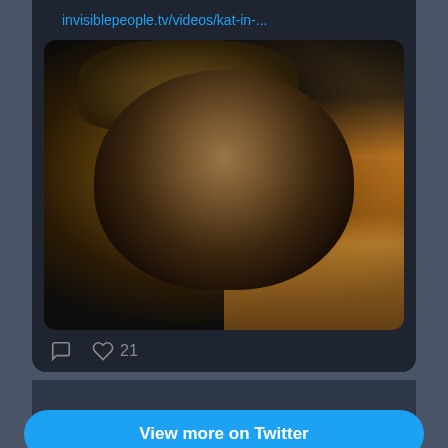invisiblepeople.tv/videos/kat-in-...
[Figure (photo): Photo of a thin man wearing a brown hat, looking at the camera, sitting outdoors on a city street at night]
21
View more on Twitter
Learn more about privacy on Twitter
Kaddish blogs